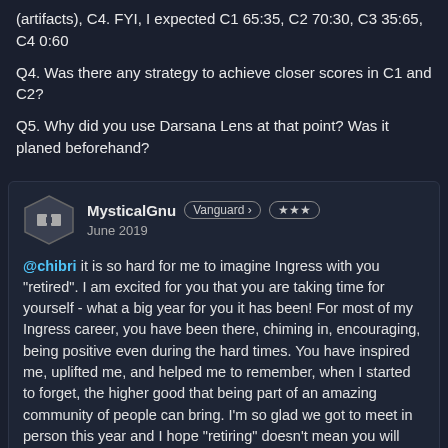(artifacts), C4. FYI, I expected C1 65:35, C2 70:30, C3 35:65, C4 0:60
Q4. Was there any strategy to achieve closer scores in C1 and C2?
Q5. Why did you use Darsana Lens at that point? Was it planed beforehand?
MysticalGnu Vanguard › ★★★ June 2019
@chibri it is so hard for me to imagine Ingress with you "retired". I am excited for you that you are taking time for yourself - what a big year for you it has been! For most of my Ingress career, you have been there, chiming in, encouraging, being positive even during the hard times. You have inspired me, uplifted me, and helped me to remember, when I started to forget, the higher good that being part of an amazing community of people can bring. I'm so glad we got to meet in person this year and I hope "retiring" doesn't mean you will